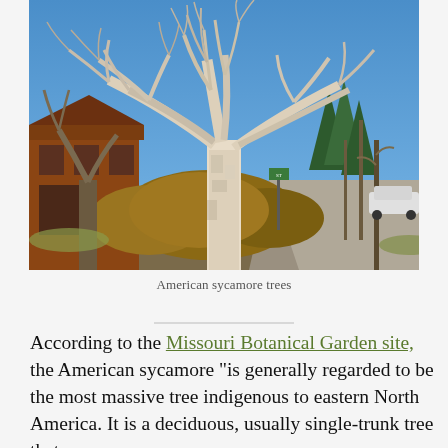[Figure (photo): Outdoor photograph of large American sycamore trees with bare white branches against a blue sky, with a brick building to the left, shrubs in the middle, and a paved path with more trees stretching into the distance on the right.]
American sycamore trees
According to the Missouri Botanical Garden site, the American sycamore “is generally regarded to be the most massive tree indigenous to eastern North America. It is a deciduous, usually single-trunk tree that